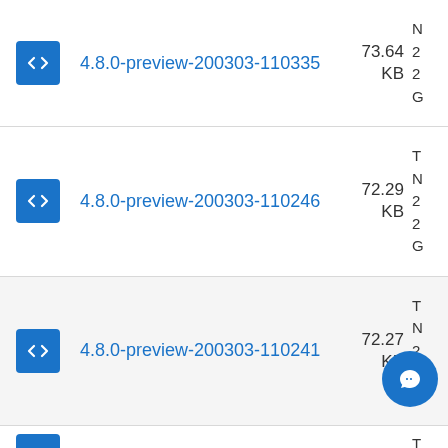4.8.0-preview-200303-110335 73.64 KB
4.8.0-preview-200303-110246 72.29 KB
4.8.0-preview-200303-110241 72.27 KB